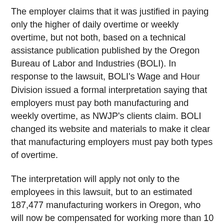The employer claims that it was justified in paying only the higher of daily overtime or weekly overtime, but not both, based on a technical assistance publication published by the Oregon Bureau of Labor and Industries (BOLI). In response to the lawsuit, BOLI's Wage and Hour Division issued a formal interpretation saying that employers must pay both manufacturing and weekly overtime, as NWJP's clients claim. BOLI changed its website and materials to make it clear that manufacturing employers must pay both types of overtime.
The interpretation will apply not only to the employees in this lawsuit, but to an estimated 187,477 manufacturing workers in Oregon, who will now be compensated for working more than 10 hours in a day and any hours worked over 40 in a week.
https://nwlaborpress.org/2016/12/long-day-and-long-week-